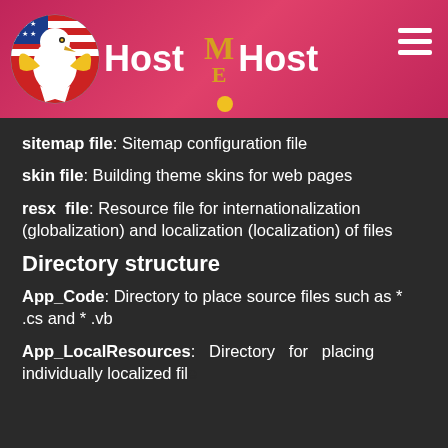Host ME Host
sitemap file: Sitemap configuration file
skin file: Building theme skins for web pages
resx file: Resource file for internationalization (globalization) and localization (localization) of files
Directory structure
App_Code: Directory to place source files such as * .cs and * .vb
App_LocalResources: Directory for placing individually created localized files